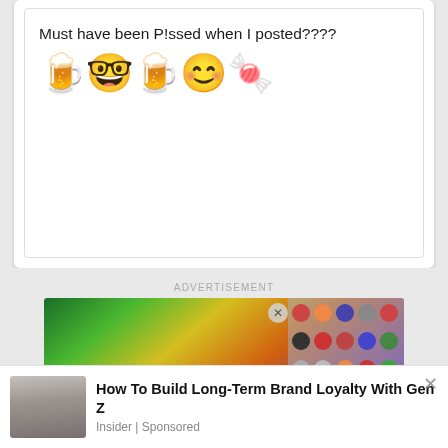Must have been P!ssed when I posted????
[Figure (illustration): Three emoji stickers: beer bottles with face, smiley face with sunglasses, and winking face with candy]
ADVERTISEMENT
[Figure (screenshot): Advertisement banner: 'Become a master of shooter!' with colorful emoji grid on right side]
[Figure (photo): Sponsored content: people in classroom/office setting]
How To Build Long-Term Brand Loyalty With Gen Z
Insider | Sponsored